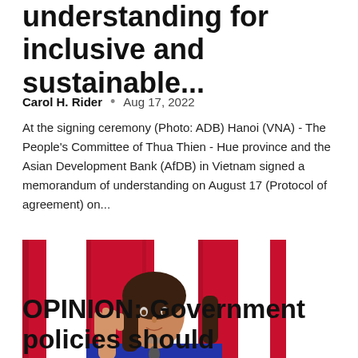understanding for inclusive and sustainable...
Carol H. Rider  •  Aug 17, 2022
At the signing ceremony (Photo: ADB) Hanoi (VNA) - The People's Committee of Thua Thien - Hue province and the Asian Development Bank (AfDB) in Vietnam signed a memorandum of understanding on August 17 (Protocol of agreement) on...
[Figure (photo): A woman in a blue blazer speaking at a podium in front of Canadian flags]
OPINION: Government policies should encourage – not